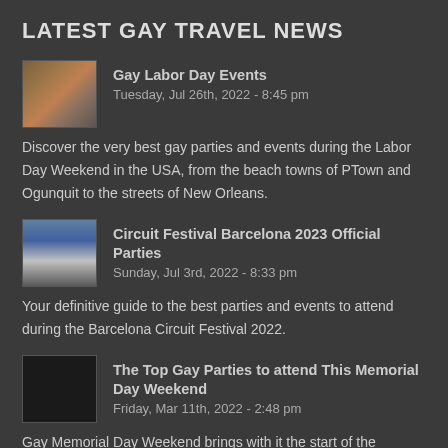LATEST GAY TRAVEL NEWS
Gay Labor Day Events
Tuesday, Jul 26th, 2022 - 8:45 pm
Discover the very best gay parties and events during the Labor Day Weekend in the USA, from the beach towns of PTown and Ogunquit to the streets of New Orleans.
Circuit Festival Barcelona 2023 Official Parties
Sunday, Jul 3rd, 2022 - 8:33 pm
Your definitive guide to the best parties and events to attend during the Barcelona Circuit Festival 2022.
The Top Gay Parties to attend This Memorial Day Weekend
Friday, Mar 11th, 2022 - 2:48 pm
Gay Memorial Day Weekend brings with it the start of the Summer season. From Dallas to Pensacola, Puerto Vallarta and